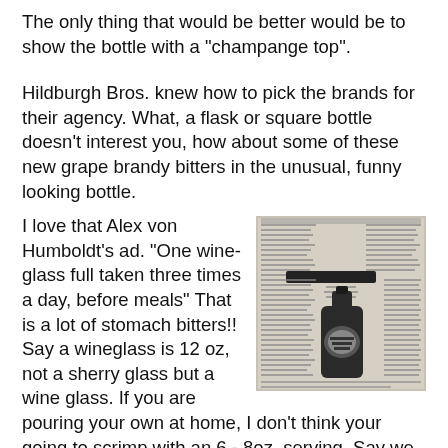The only thing that would be better would be to show the bottle with a "champange top".
Hildburgh Bros. knew how to pick the brands for their agency. What, a flask or square bottle doesn't interest you, how about some of these new grape brandy bitters in the unusual, funny looking bottle.
I love that Alex von Humboldt's ad. "One wine-glass full taken three times a day, before meals" That is a lot of stomach bitters!! Say a wineglass is 12 oz, not a sherry glass but a wine glass. If you are pouring your own at home, I don't think your going to scrimp with an 6 - 8oz. serving. Say we split the diff. and say 10oz. That's 30 oz. a day, or more than a fifth per day. I just had to measure my Alex Von Humboldts and it holds 22oz at just below the top. Hell, that is a 1.3 bottles per day!! I need to find someone that was hooked on Alex. back in 1868.
[Figure (photo): Black and white newspaper clipping showing a bottle of bitters with text advertisement around it. The bottle appears to be the Alex von Humboldt bitters bottle with a label on it, surrounded by newspaper advertisement text.]